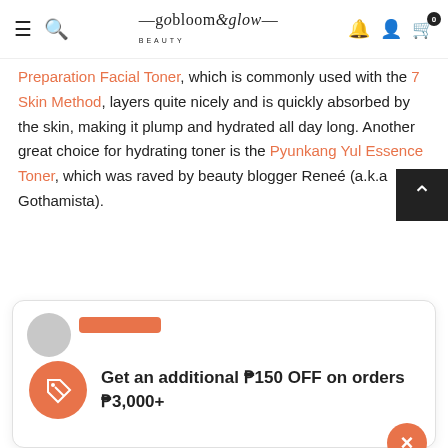gobloomandglow beauty — navigation bar with hamburger menu, search, logo, bell, account, cart (0)
Preparation Facial Toner, which is commonly used with the 7 Skin Method, layers quite nicely and is quickly absorbed by the skin, making it plump and hydrated all day long. Another great choice for hydrating toner is the Pyunkang Yul Essence Toner, which was raved by beauty blogger Reneé (a.k.a Gothamista).
[Figure (screenshot): Promotional popup card: orange tag icon, text 'Get an additional ₱150 OFF on orders ₱3,000+', with close (X) button]